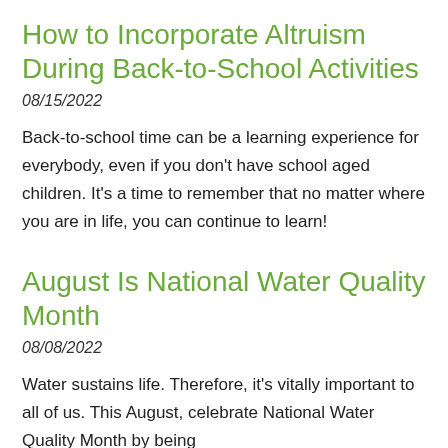How to Incorporate Altruism During Back-to-School Activities
08/15/2022
Back-to-school time can be a learning experience for everybody, even if you don't have school aged children. It's a time to remember that no matter where you are in life, you can continue to learn!
August Is National Water Quality Month
08/08/2022
Water sustains life. Therefore, it's vitally important to all of us. This August, celebrate National Water Quality Month by being